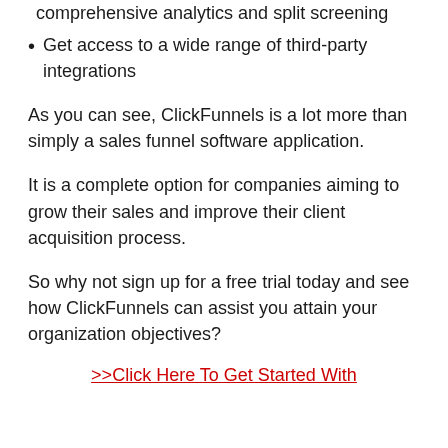comprehensive analytics and split screening
Get access to a wide range of third-party integrations
As you can see, ClickFunnels is a lot more than simply a sales funnel software application.
It is a complete option for companies aiming to grow their sales and improve their client acquisition process.
So why not sign up for a free trial today and see how ClickFunnels can assist you attain your organization objectives?
>>Click Here To Get Started With